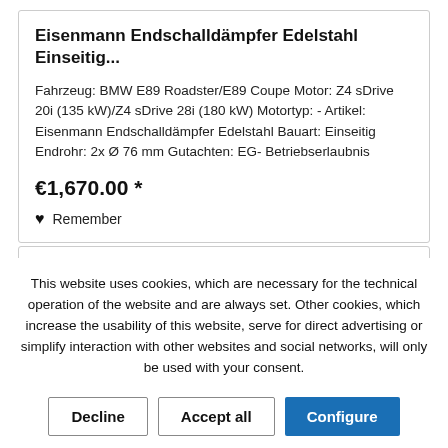Eisenmann Endschalldämpfer Edelstahl Einseitig...
Fahrzeug: BMW E89 Roadster/E89 Coupe Motor: Z4 sDrive 20i (135 kW)/Z4 sDrive 28i (180 kW) Motortyp: - Artikel: Eisenmann Endschalldämpfer Edelstahl Bauart: Einseitig Endrohr: 2x Ø 76 mm Gutachten: EG- Betriebserlaubnis
€1,670.00 *
Remember
This website uses cookies, which are necessary for the technical operation of the website and are always set. Other cookies, which increase the usability of this website, serve for direct advertising or simplify interaction with other websites and social networks, will only be used with your consent.
Decline
Accept all
Configure